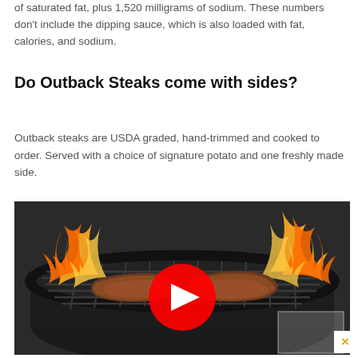of saturated fat, plus 1,520 milligrams of sodium. These numbers don't include the dipping sauce, which is also loaded with fat, calories, and sodium.
Do Outback Steaks come with sides?
Outback steaks are USDA graded, hand-trimmed and cooked to order. Served with a choice of signature potato and one freshly made side.
[Figure (screenshot): A video thumbnail showing steaks being grilled on a round charcoal grill with large flames. A red YouTube play button is overlaid in the center of the image. There is a semi-transparent white overlay box in the bottom right corner with an orange X close button.]